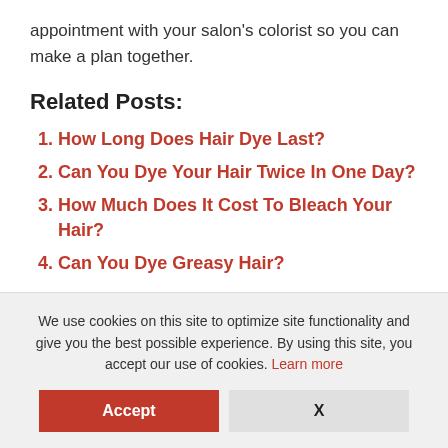appointment with your salon's colorist so you can make a plan together.
Related Posts:
How Long Does Hair Dye Last?
Can You Dye Your Hair Twice In One Day?
How Much Does It Cost To Bleach Your Hair?
Can You Dye Greasy Hair?
We use cookies on this site to optimize site functionality and give you the best possible experience. By using this site, you accept our use of cookies. Learn more